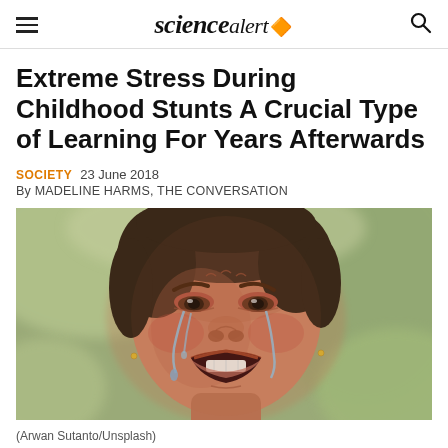sciencealert
Extreme Stress During Childhood Stunts A Crucial Type of Learning For Years Afterwards
SOCIETY  23 June 2018
By MADELINE HARMS, THE CONVERSATION
[Figure (photo): Close-up photograph of a young child with tears streaming down face, crying with mouth open, wearing a small earring. Blurred green/nature background. Photo by Arwan Sutanto/Unsplash.]
(Arwan Sutanto/Unsplash)